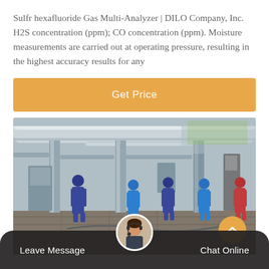Sulfr hexafluoride Gas Multi-Analyzer | DILO Company, Inc. H2S concentration (ppm); CO concentration (ppm). Moisture measurements are carried out at operating pressure, resulting in the highest accuracy results for any
Get Price
[Figure (photo): Workers in blue overalls and hard hats working on industrial gas equipment / piping at an outdoor substation or industrial site.]
Leave Message
Chat Online